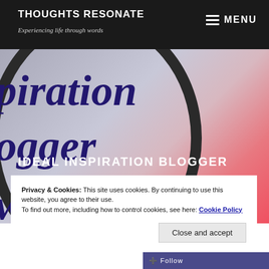THOUGHTS RESONATE — Experiencing life through words — MENU
[Figure (illustration): Blog hero image showing partial large italic dark blue text 'piration', 'ogger', 'ward' with a circular frame outline, overlaid with white bold text 'IDEAL INSPIRATION BLOGGER AWARD!', and a pink floral/dessert photo on the right side]
Privacy & Cookies: This site uses cookies. By continuing to use this website, you agree to their use.
To find out more, including how to control cookies, see here: Cookie Policy
Close and accept